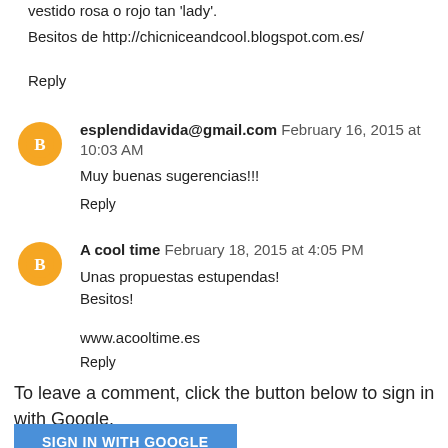vestido rosa o rojo tan 'lady'.
Besitos de http://chicniceandcool.blogspot.com.es/
Reply
esplendidavida@gmail.com  February 16, 2015 at 10:03 AM
Muy buenas sugerencias!!!
Reply
A cool time  February 18, 2015 at 4:05 PM
Unas propuestas estupendas!
Besitos!
www.acooltime.es
Reply
To leave a comment, click the button below to sign in with Google.
SIGN IN WITH GOOGLE